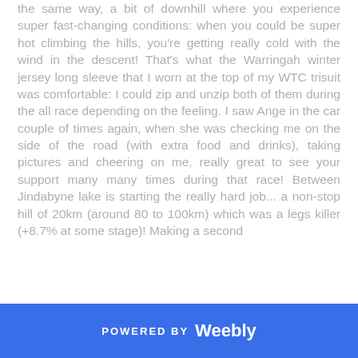the same way, a bit of downhill where you experience super fast-changing conditions: when you could be super hot climbing the hills, you're getting really cold with the wind in the descent! That's what the Warringah winter jersey long sleeve that I worn at the top of my WTC trisuit was comfortable: I could zip and unzip both of them during the all race depending on the feeling. I saw Ange in the car couple of times again, when she was checking me on the side of the road (with extra food and drinks), taking pictures and cheering on me, really great to see your support many many times during that race! Between Jindabyne lake is starting the really hard job... a non-stop hill of 20km (around 80 to 100km) which was a legs killer (+8.7% at some stage)! Making a second
POWERED BY Weebly